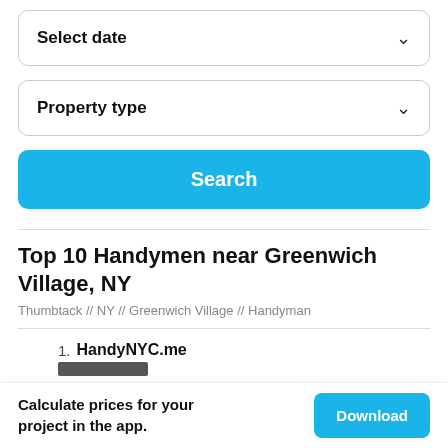Select date
Property type
Search
Top 10 Handymen near Greenwich Village, NY
Thumbtack // NY // Greenwich Village // Handyman
1. HandyNYC.me
Calculate prices for your project in the app.
Download